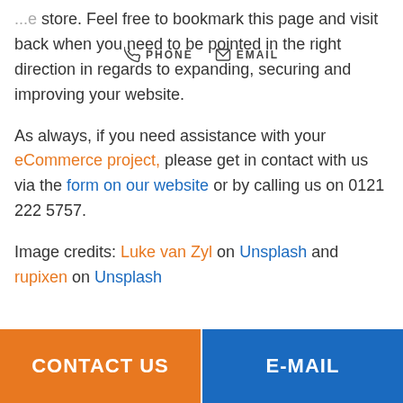...e store. Feel free to bookmark this page and visit back when you need to be pointed in the right direction in regards to expanding, securing and improving your website.
[Figure (infographic): Navigation bar overlay with phone icon and PHONE label, email icon and EMAIL label]
As always, if you need assistance with your eCommerce project, please get in contact with us via the form on our website or by calling us on 0121 222 5757.
Image credits: Luke van Zyl on Unsplash and rupixen on Unsplash
CONTACT US | E-MAIL